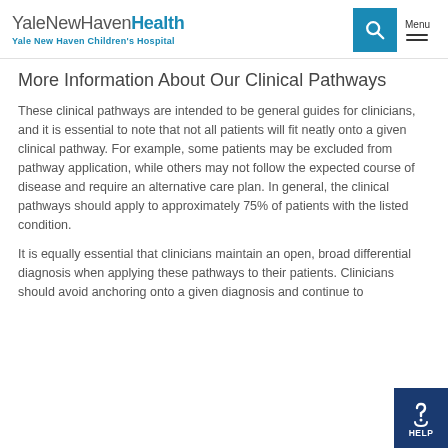YaleNewHavenHealth Yale New Haven Children's Hospital
More Information About Our Clinical Pathways
These clinical pathways are intended to be general guides for clinicians, and it is essential to note that not all patients will fit neatly onto a given clinical pathway. For example, some patients may be excluded from pathway application, while others may not follow the expected course of disease and require an alternative care plan. In general, the clinical pathways should apply to approximately 75% of patients with the listed condition.
It is equally essential that clinicians maintain an open, broad differential diagnosis when applying these pathways to their patients. Clinicians should avoid anchoring onto a given diagnosis and continue to